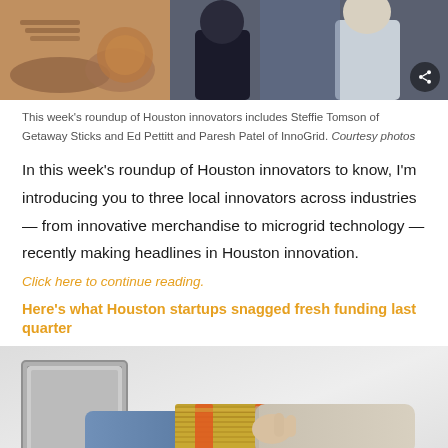[Figure (photo): Two photos side by side: left shows hands exchanging goods (teapot/ceramics), right shows two men in professional attire with a share icon overlay]
This week's roundup of Houston innovators includes Steffie Tomson of Getaway Sticks and Ed Pettitt and Paresh Patel of InnoGrid. Courtesy photos
In this week's roundup of Houston innovators to know, I'm introducing you to three local innovators across industries — from innovative merchandise to microgrid technology — recently making headlines in Houston innovation.
Click here to continue reading.
Here's what Houston startups snagged fresh funding last quarter
[Figure (photo): Photo of a hand coming out of a laptop screen handing a bundle of cash to another hand, on a light grey background]